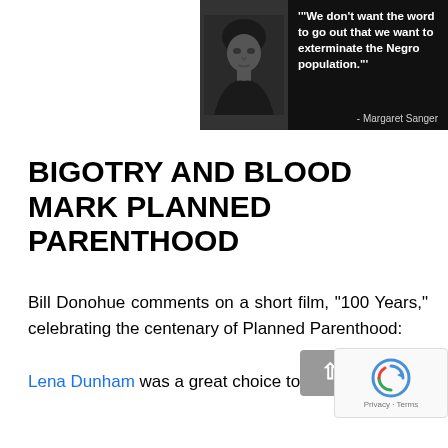[Figure (photo): Black and white image with a photo of Margaret Sanger on the left side and a quote on the right: '"We don't want the word to go out that we want to exterminate the Negro population."' attributed to - Margaret Sanger, on a dark background.]
BIGOTRY AND BLOOD MARK PLANNED PARENTHOOD
Bill Donohue comments on a short film, "100 Years," celebrating the centenary of Planned Parenthood:
Lena Dunham was a great choice to narrate the Planned Parenthood...